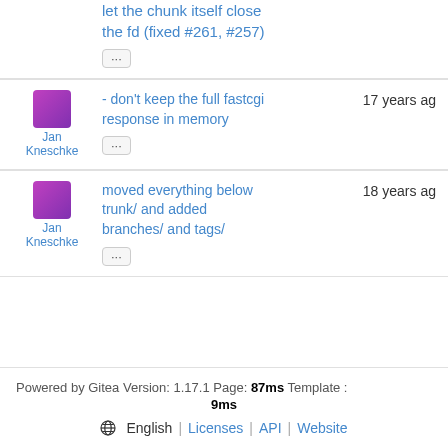let the chunk itself close the fd (fixed #261, #257)
...
Jan Kneschke - don't keep the full fastcgi response in memory ... 17 years ago
Jan Kneschke moved everything below trunk/ and added branches/ and tags/ ... 18 years ago
Powered by Gitea Version: 1.17.1 Page: 87ms Template : 9ms English | Licenses | API | Website